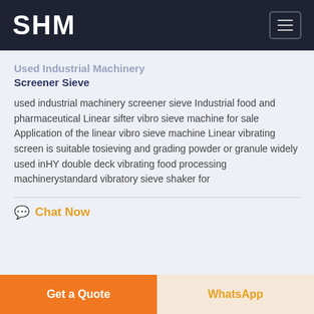SHM
Used Industrial Machinery Screener Sieve
used industrial machinery screener sieve Industrial food and pharmaceutical Linear sifter vibro sieve machine for sale Application of the linear vibro sieve machine Linear vibrating screen is suitable tosieving and grading powder or granule widely used inHY double deck vibrating food processing machinerystandard vibratory sieve shaker for
Chat Now